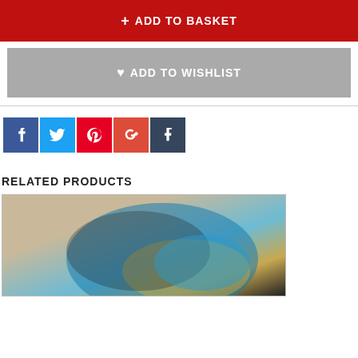[Figure (other): Red 'Add to Basket' button with plus icon]
[Figure (other): Grey 'Add to Wishlist' button with heart icon]
[Figure (other): Social media share icons: Facebook, Twitter, Pinterest, Google+, Tumblr]
RELATED PRODUCTS
[Figure (photo): Product card showing a partially visible swirled blue/yellow/black patterned product photo, with a cookie consent overlay]
This website uses cookies to ensure that you get the best experience on our website. Read our privacy policy.
I accept